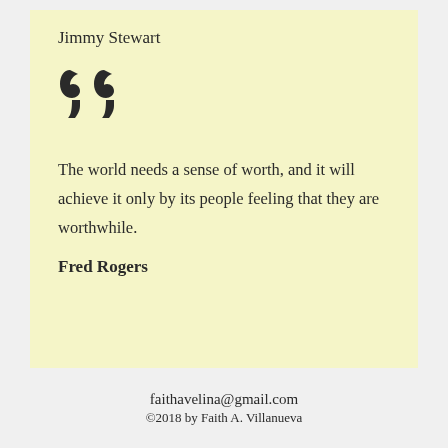Jimmy Stewart
[Figure (illustration): Large decorative closing double quotation marks in dark color on yellow background]
The world needs a sense of worth, and it will achieve it only by its people feeling that they are worthwhile.
Fred Rogers
faithavelina@gmail.com
©2018 by Faith A. Villanueva